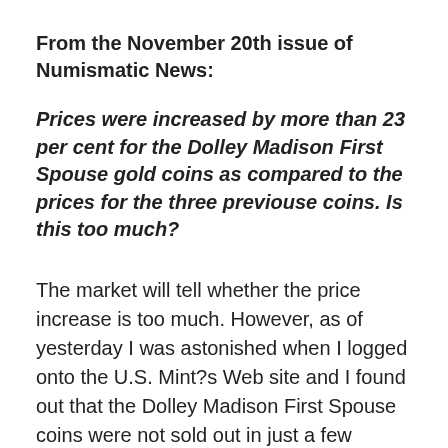From the November 20th issue of Numismatic News:
Prices were increased by more than 23 per cent for the Dolley Madison First Spouse gold coins as compared to the prices for the three previouse coins. Is this too much?
The market will tell whether the price increase is too much. However, as of yesterday I was astonished when I logged onto the U.S. Mint?s Web site and I found out that the Dolley Madison First Spouse coins were not sold out in just a few